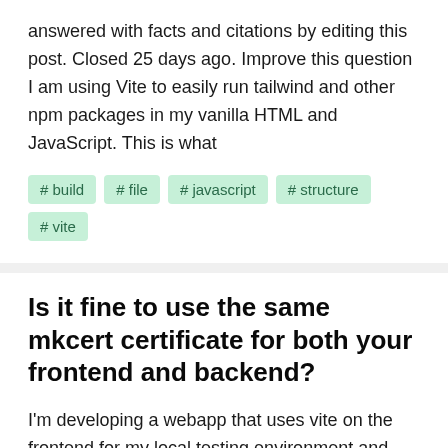answered with facts and citations by editing this post. Closed 25 days ago. Improve this question I am using Vite to easily run tailwind and other npm packages in my vanilla HTML and JavaScript. This is what
# build
# file
# javascript
# structure
# vite
Is it fine to use the same mkcert certificate for both your frontend and backend?
I'm developing a webapp that uses vite on the frontend for my local testing environment and also a separate API backend. I used mkcert to generate